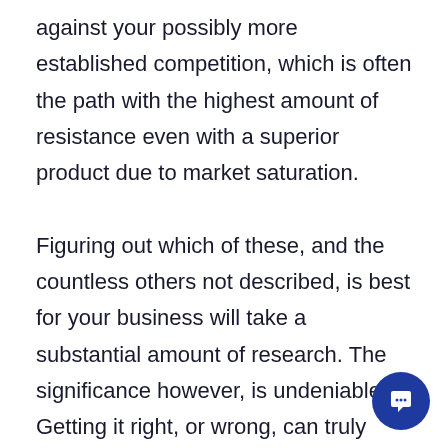against your possibly more established competition, which is often the path with the highest amount of resistance even with a superior product due to market saturation.

Figuring out which of these, and the countless others not described, is best for your business will take a substantial amount of research. The significance however, is undeniable. Getting it right, or wrong, can truly make or break your business. Fortunately, making a change can provide results immediately, so constantly researching and monitoring you pricing will always provide you with insight tha